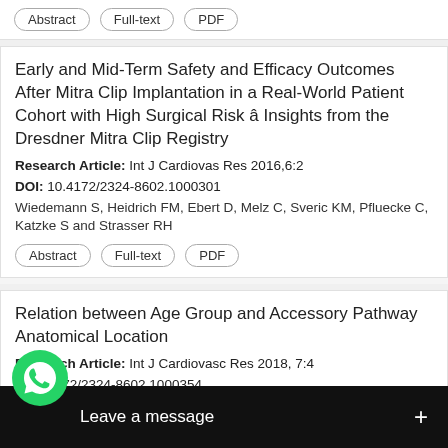Abstract | Full-text | PDF
Early and Mid-Term Safety and Efficacy Outcomes After Mitra Clip Implantation in a Real-World Patient Cohort with High Surgical Risk ââ€‚ Insights from the Dresdner Mitra Clip Registry
Research Article: Int J Cardiovas Res 2016,6:2
DOI: 10.4172/2324-8602.1000301
Wiedemann S, Heidrich FM, Ebert D, Melz C, Sveric KM, Pfluecke C, Katzke S and Strasser RH
Abstract | Full-text | PDF
Relation between Age Group and Accessory Pathway Anatomical Location
Research Article: Int J Cardiovasc Res 2018, 7:4
DOI: 10.4172/2324-8602.1000354
Romério Costa Ferro*, Francisco de Assis Costa, Maria ... o Henrique Albuquerque, Agen... osa, Fabiana Piech Nunes Ferro